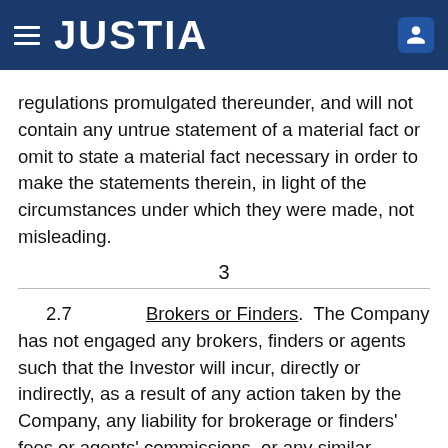JUSTIA
regulations promulgated thereunder, and will not contain any untrue statement of a material fact or omit to state a material fact necessary in order to make the statements therein, in light of the circumstances under which they were made, not misleading.
3
2.7    Brokers or Finders.  The Company has not engaged any brokers, finders or agents such that the Investor will incur, directly or indirectly, as a result of any action taken by the Company, any liability for brokerage or finders' fees or agents' commissions, or any similar charges in connection with the sale of the Shares contemplated by this Agreement.